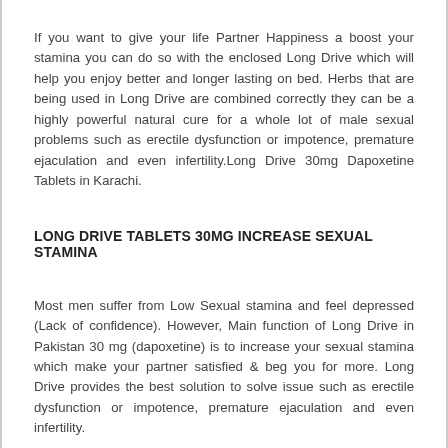If you want to give your life Partner Happiness a boost your stamina you can do so with the enclosed Long Drive which will help you enjoy better and longer lasting on bed. Herbs that are being used in Long Drive are combined correctly they can be a highly powerful natural cure for a whole lot of male sexual problems such as erectile dysfunction or impotence, premature ejaculation and even infertility.Long Drive 30mg Dapoxetine Tablets in Karachi.
LONG DRIVE TABLETS 30MG INCREASE SEXUAL STAMINA
Most men suffer from Low Sexual stamina and feel depressed (Lack of confidence). However, Main function of Long Drive in Pakistan 30 mg (dapoxetine) is to increase your sexual stamina which make your partner satisfied & beg you for more. Long Drive provides the best solution to solve issue such as erectile dysfunction or impotence, premature ejaculation and even infertility.